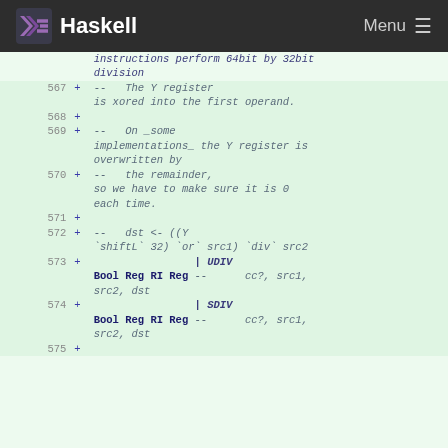Haskell   Menu
instructions perform 64bit by 32bit division
567  +      --   The Y register is xored into the first operand.
568  +
569  +      --   On _some implementations_ the Y register is overwritten by
570  +      --   the remainder, so we have to make sure it is 0 each time.
571  +
572  +      --   dst <- ((Y `shiftL` 32) `or` src1) `div` src2
573  +      | UDIV Bool Reg RI Reg  --   cc?, src1, src2, dst
574  +      | SDIV Bool Reg RI Reg  --   cc?, src1, src2, dst
575  +